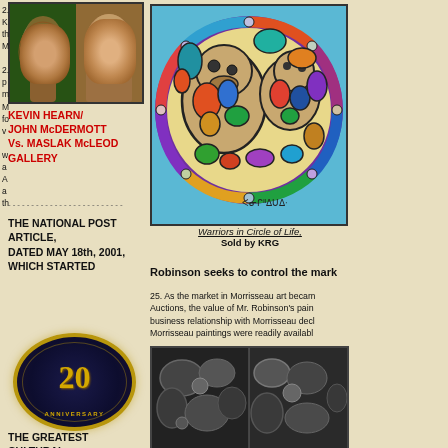[Figure (photo): Split composite photo of two men side by side]
KEVIN HEARN/ JOHN McDERMOTT Vs. MASLAK McLEOD GALLERY
----------------------------
THE NATIONAL POST ARTICLE, DATED MAY 18th, 2001, WHICH STARTED
[Figure (photo): 20th Anniversary gold badge/seal on dark navy background]
THE GREATEST CULTURAL GENOCIDE
[Figure (illustration): Warriors in Circle of Life - Norval Morrisseau style artwork showing two bear-like figures in a circular colorful composition on blue background with syllabic signature]
Warriors in Circle of Life, Sold by KRG
Robinson seeks to control the mark
25. As the market in Morrisseau art becam Auctions, the value of Mr. Robinson's pain business relationship with Morrisseau decl Morrisseau paintings were readily availabl
[Figure (illustration): Two dark grayscale detail images of Morrisseau-style artwork]
Right column numbered paragraphs text partially visible